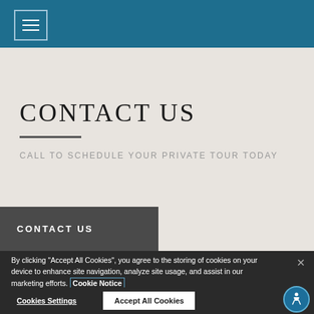Navigation menu icon
CONTACT US
CALL TO SCHEDULE YOUR PRIVATE TOUR TODAY
CONTACT US
By clicking "Accept All Cookies", you agree to the storing of cookies on your device to enhance site navigation, analyze site usage, and assist in our marketing efforts. Cookie Notice
Cookies Settings
Accept All Cookies